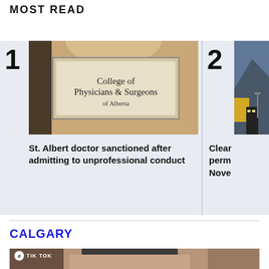MOST READ
[Figure (photo): Sign reading 'College of Physicians & Surgeons of Alberta' on a wall]
St. Albert doctor sanctioned after admitting to unprofessional conduct
[Figure (photo): Partially visible outdoor/landscape photo]
Clear perm Nove
CALGARY
[Figure (photo): TikTok-watermarked video thumbnail showing a person with a cap]